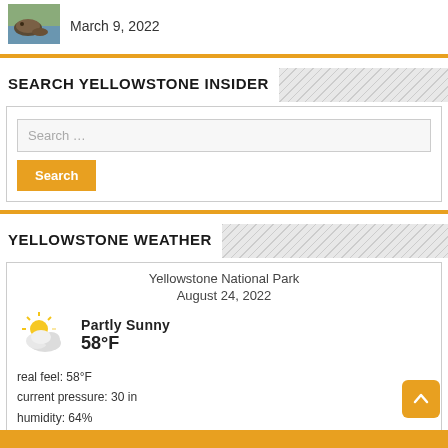[Figure (photo): Small thumbnail of a beaver or similar animal near water]
March 9, 2022
SEARCH YELLOWSTONE INSIDER
Search …
Search
YELLOWSTONE WEATHER
Yellowstone National Park
August 24, 2022
[Figure (illustration): Partly sunny weather icon with sun and clouds]
PARTLY SUNNY
58°F
real feel: 58°F
current pressure: 30 in
humidity: 64%
wind speed: 7 mph N
sunrise: 6:35 am
sunset: 8:14 pm